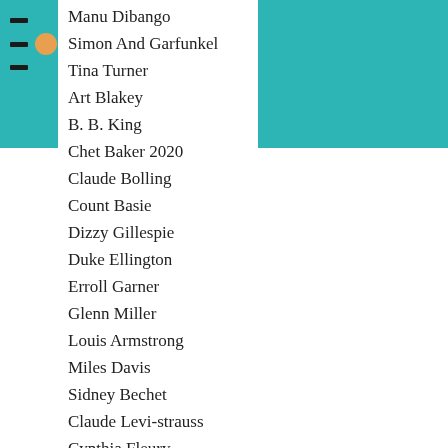Manu Dibango
Simon And Garfunkel
Tina Turner
Art Blakey
B. B. King
Chet Baker 2020
Claude Bolling
Count Basie
Dizzy Gillespie
Duke Ellington
Erroll Garner
Glenn Miller
Louis Armstrong
Miles Davis
Sidney Bechet
Claude Levi-strauss
Cynthia Fleury
Daniel Pennac
Henrik Ibsen